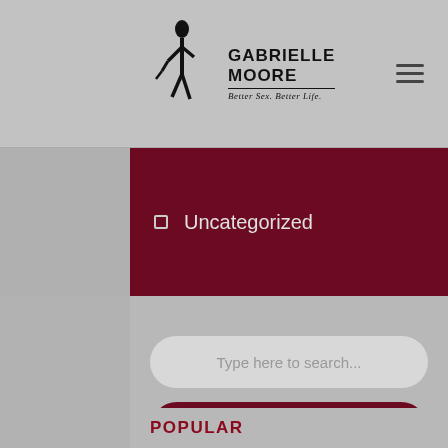GABRIELLE MOORE Better Sex. Better Life.
Uncategorized
Type here to search...
SEARCH
POPULAR
Bumpy ride
January 5, 2020